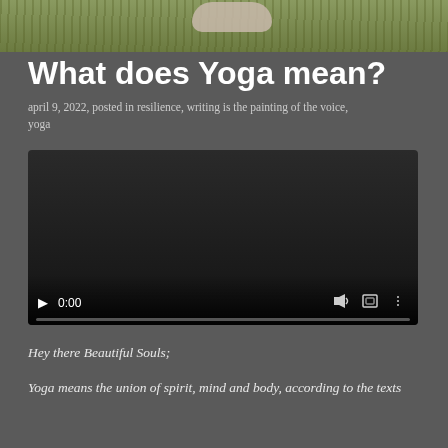[Figure (photo): Top portion of a photo showing grass and feet/legs of a person]
What does Yoga mean?
april 9, 2022, posted in resilience, writing is the painting of the voice, yoga
[Figure (screenshot): Video player showing a dark/black video with controls: play button, 0:00 timestamp, volume icon, fullscreen icon, and options icon. Progress bar at bottom.]
Hey there Beautiful Souls;
Yoga means the union of spirit, mind and body, according to the texts